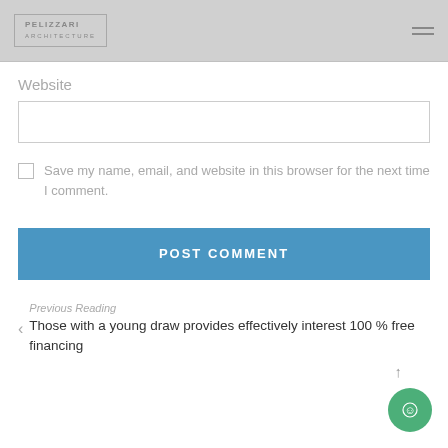[Figure (screenshot): Website header/navigation bar with Pelizzari logo and hamburger menu icon on grey background]
Website
[Figure (other): Empty text input field for website URL]
Save my name, email, and website in this browser for the next time I comment.
POST COMMENT
Previous Reading
Those with a young draw provides effectively interest 100 % free financing